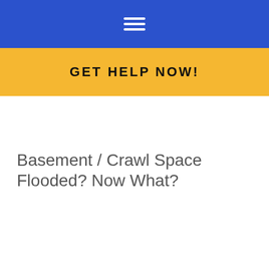≡
GET HELP NOW!
Basement / Crawl Space Flooded? Now What?